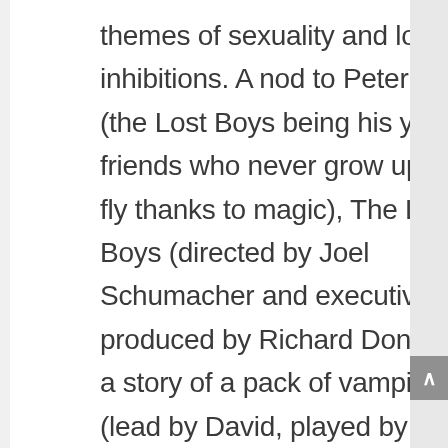themes of sexuality and losing inhibitions. A nod to Peter Pan (the Lost Boys being his young friends who never grow up and fly thanks to magic), The Lost Boys (directed by Joel Schumacher and executive produced by Richard Donner) is a story of a pack of vampires (lead by David, played by Kiefer Sutherland) turned as teenagers who live a relatively carefree, daredevil lifestyle occasionally adding another to their number they feel compliments the group. One such recruit was Michael Emerson, a recent addition to California after moving from Arizona with his family. However, Michael didn't take to being forcefully added to the group and fought back. With help from his brother Sam (Corey Haim) and the Fro...